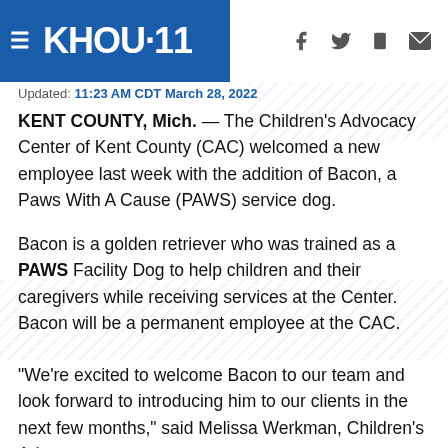≡ KHOU·11
Updated: 11:23 AM CDT March 28, 2022
KENT COUNTY, Mich. — The Children's Advocacy Center of Kent County (CAC) welcomed a new employee last week with the addition of Bacon, a Paws With A Cause (PAWS) service dog.
Bacon is a golden retriever who was trained as a PAWS Facility Dog to help children and their caregivers while receiving services at the Center. Bacon will be a permanent employee at the CAC.
“We’re excited to welcome Bacon to our team and look forward to introducing him to our clients in the next few months,” said Melissa Werkman, Children’s Advocacy